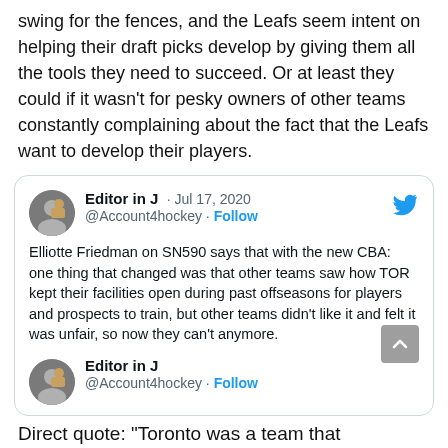swing for the fences, and the Leafs seem intent on helping their draft picks develop by giving them all the tools they need to succeed. Or at least they could if it wasn't for pesky owners of other teams constantly complaining about the fact that the Leafs want to develop their players.
[Figure (screenshot): Embedded tweet from @Account4hockey (Editor in J), Jul 17, 2020, with Twitter bird icon. Tweet text: 'Elliotte Friedman on SN590 says that with the new CBA: one thing that changed was that other teams saw how TOR kept their facilities open during past offseasons for players and prospects to train, but other teams didn't like it and felt it was unfair, so now they can't anymore.' Followed by a second tweet header from same account with text beginning 'Direct quote: "Toronto was a team that']
Direct quote: "Toronto was a team that